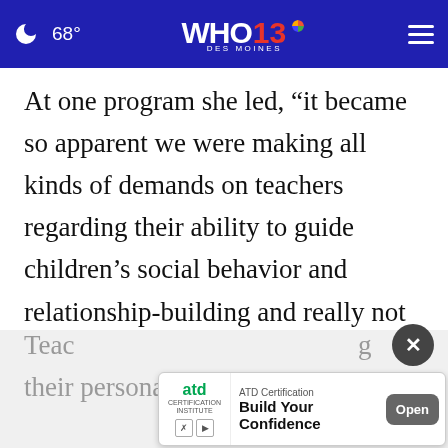🌙 68° WHO 13 DES MOINES
At one program she led, “it became so apparent we were making all kinds of demands on teachers regarding their ability to guide children’s social behavior and relationship-building and really not investing in how teachers were doing,” she said. “Teachers who had really difficult times with kids weren’t well themselves.”
Teac[hers who struggle with managing their personal lives into the classroom